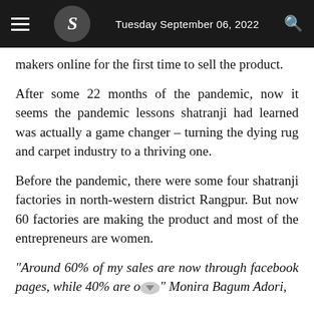Tuesday September 06, 2022
makers online for the first time to sell the product.
After some 22 months of the pandemic, now it seems the pandemic lessons shatranji had learned was actually a game changer – turning the dying rug and carpet industry to a thriving one.
Before the pandemic, there were some four shatranji factories in north-western district Rangpur. But now 60 factories are making the product and most of the entrepreneurs are women.
"Around 60% of my sales are now through facebook pages, while 40% are o..." Monira Bagum Adori,